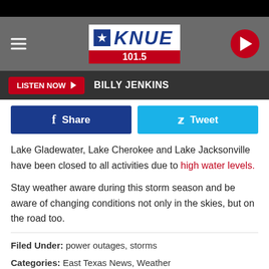[Figure (screenshot): KNUE 101.5 radio station website header with logo, hamburger menu, play button, listen now bar with Billy Jenkins, Facebook Share and Tweet buttons, article text about lake closures and storm season, and filed under/categories metadata.]
Lake Gladewater, Lake Cherokee and Lake Jacksonville have been closed to all activities due to high water levels.
Stay weather aware during this storm season and be aware of changing conditions not only in the skies, but on the road too.
Filed Under: power outages, storms
Categories: East Texas News, Weather